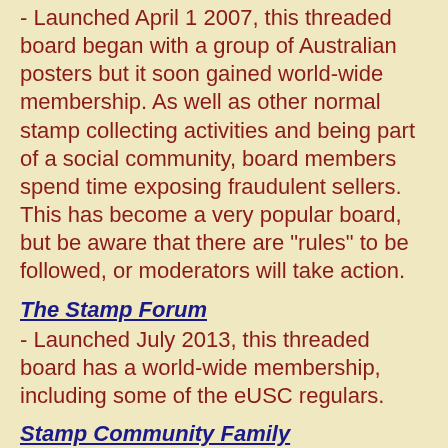- Launched April 1 2007, this threaded board began with a group of Australian posters but it soon gained world-wide membership. As well as other normal stamp collecting activities and being part of a social community, board members spend time exposing fraudulent sellers. This has become a very popular board, but be aware that there are "rules" to be followed, or moderators will take action.
The Stamp Forum - Launched July 2013, this threaded board has a world-wide membership, including some of the eUSC regulars.
Stamp Community Family - This has a coin forum, tutorials and eBay shopping pages as well as a stamp forum. The U.S.